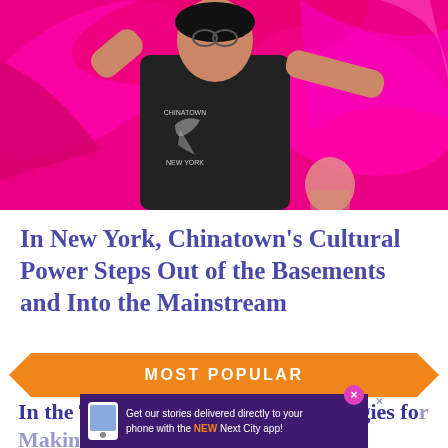[Figure (photo): A person wearing a black sleeveless Chinatown New York t-shirt with a dragon graphic, dancing with bright magenta/pink fabric flowing around them. A child is partially visible in the background.]
In New York, Chinatown's Cultural Power Steps Out of the Basements and Into the Mainstream
MOST POPULAR
In the Twin Cities, Innovative Strategies for Making Safety a Two-Sided Interest
Get our stories delivered directly to your phone with the NEW Next City app!